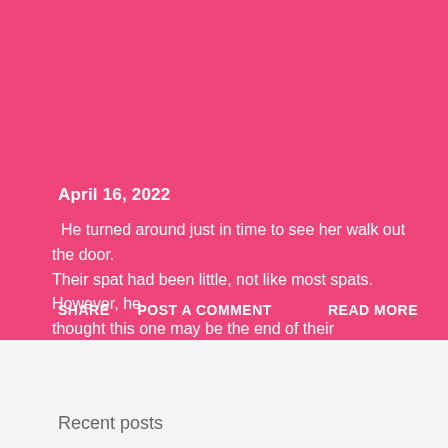April 16, 2022
He turned around just in time to see her walk out the door. Their spat had been little, not like most spats. However, he thought this one may be the end of their relationship. So many times, they would break up, only to get back together again. Cr ...
SHARE   POST A COMMENT   READ MORE
Recent posts